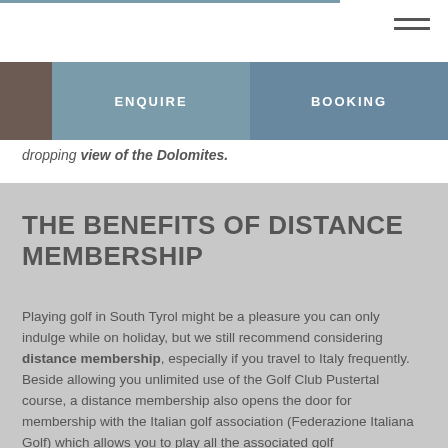ENQUIRE  |  BOOKING
dropping view of the Dolomites.
THE BENEFITS OF DISTANCE MEMBERSHIP
Playing golf in South Tyrol might be a pleasure you can only indulge while on holiday, but we still recommend considering distance membership, especially if you travel to Italy frequently. Beside allowing you unlimited use of the Golf Club Pustertal course, a distance membership also opens the door for membership with the Italian golf association (Federazione Italiana Golf) which allows you to play at all the associated golf...